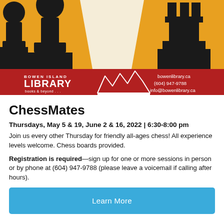[Figure (illustration): Chess-themed event poster illustration showing silhouettes of chess pieces (pawn, bishop, rook) on an orange/yellow background with a cream central stripe. Lower portion has a red banner with Bowen Island Library logo (white mountain/books icon) on the left and contact info (bowenlibrary.ca, (604) 947-9788, info@bowenlibrary.ca) on the right.]
ChessMates
Thursdays, May 5 & 19, June 2 & 16, 2022 | 6:30-8:00 pm
Join us every other Thursday for friendly all-ages chess! All experience levels welcome. Chess boards provided.
Registration is required—sign up for one or more sessions in person or by phone at (604) 947-9788 (please leave a voicemail if calling after hours).
Learn More